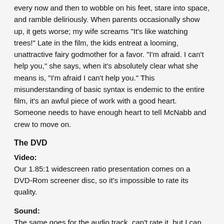every now and then to wobble on his feet, stare into space, and ramble deliriously. When parents occasionally show up, it gets worse; my wife screams "It's like watching trees!" Late in the film, the kids entreat a looming, unattractive fairy godmother for a favor. "I'm afraid. I can't help you," she says, when it's absolutely clear what she means is, "I'm afraid I can't help you." This misunderstanding of basic syntax is endemic to the entire film, it's an awful piece of work with a good heart. Someone needs to have enough heart to tell McNabb and crew to move on.
The DVD
Video:
Our 1.85:1 widescreen ratio presentation comes on a DVD-Rom screener disc, so it's impossible to rate its quality.
Sound:
The same goes for the audio track, can't rate it, but I can note that frequent looped dialog does a remarkably poor job of matching the rest of the audio.